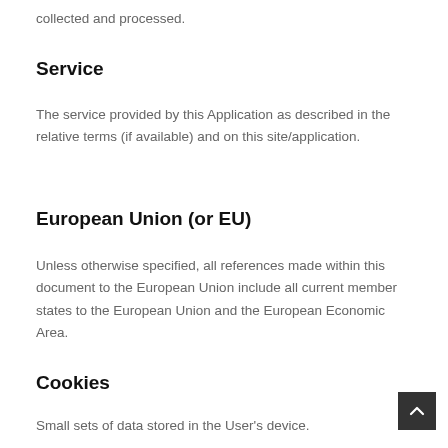collected and processed.
Service
The service provided by this Application as described in the relative terms (if available) and on this site/application.
European Union (or EU)
Unless otherwise specified, all references made within this document to the European Union include all current member states to the European Union and the European Economic Area.
Cookies
Small sets of data stored in the User's device.